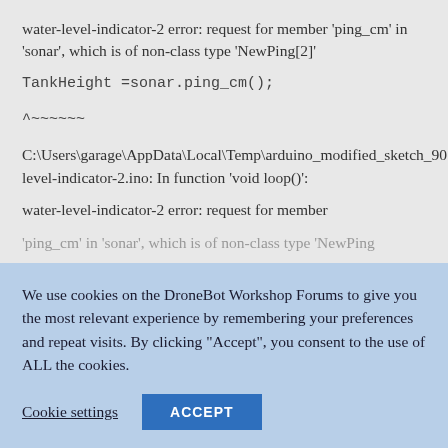water-level-indicator-2 error: request for member 'ping_cm' in 'sonar', which is of non-class type 'NewPing[2]'
TankHeight =sonar.ping_cm();
^~~~~~~
C:\Users\garage\AppData\Local\Temp\arduino_modified_sketch_901569\water-level-indicator-2.ino: In function 'void loop()':
water-level-indicator-2 error: request for member 'ping_cm' in 'sonar', which is of non-class type 'NewPing...
We use cookies on the DroneBot Workshop Forums to give you the most relevant experience by remembering your preferences and repeat visits. By clicking "Accept", you consent to the use of ALL the cookies.
Cookie settings
ACCEPT